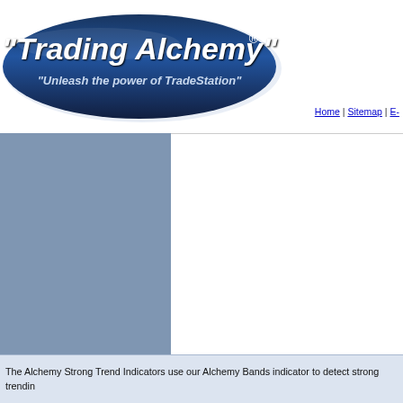[Figure (logo): Trading Alchemy logo - dark blue ellipse with white italic text 'Trading Alchemy' and subtitle 'Unleash the power of TradeStation' with registered trademark symbol]
Home | Sitemap | E-
[Figure (other): Blue-gray sidebar/image placeholder rectangle]
About Us | Consultation Services | C
S
The Alchemy Strong Trend Indicators use our Alchemy Bands indicator to detect strong trendin